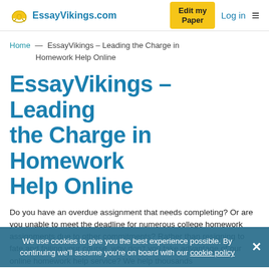EssayVikings.com | Edit my Paper | Log in
Home — EssayVikings – Leading the Charge in Homework Help Online
EssayVikings – Leading the Charge in Homework Help Online
Do you have an overdue assignment that needs completing? Or are you unable to meet the deadline for numerous college homework assignments due to other commitments? Rather than resigning to fate and failing your course, why don't you take advantage of our online homework help service? We help thousands
We use cookies to give you the best experience possible. By continuing we'll assume you're on board with our cookie policy